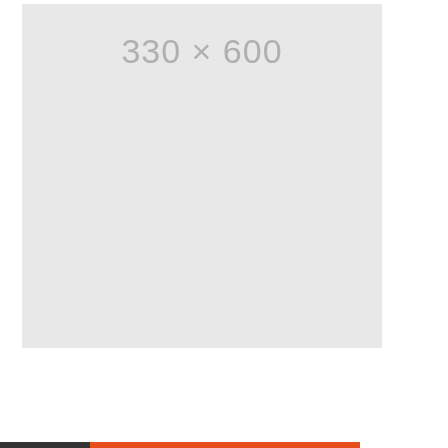[Figure (other): A placeholder image box with light grey background displaying the dimensions '330 × 600' in grey text near the top center of the box.]